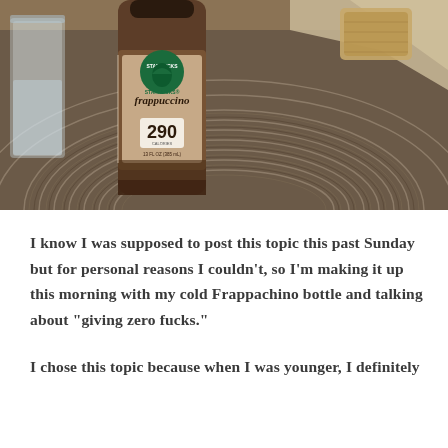[Figure (photo): Photo of a Starbucks Frappuccino glass bottle (290 calories label visible) sitting on a woven gray/brown circular rug or mat, with a glass of water on the left and what appears to a wooden coaster in the top right background.]
I know I was supposed to post this topic this past Sunday but for personal reasons I couldn't, so I'm making it up this morning with my cold Frappachino bottle and talking about "giving zero fucks."
I chose this topic because when I was younger, I definitely